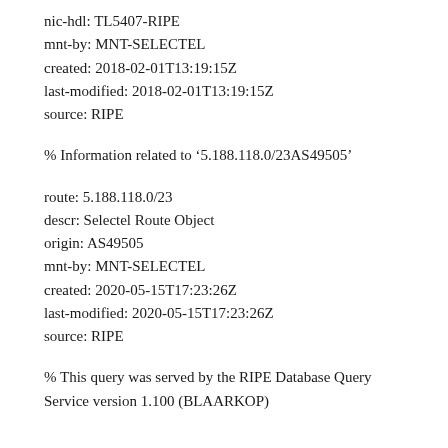nic-hdl: TL5407-RIPE
mnt-by: MNT-SELECTEL
created: 2018-02-01T13:19:15Z
last-modified: 2018-02-01T13:19:15Z
source: RIPE
% Information related to '5.188.118.0/23AS49505'
route: 5.188.118.0/23
descr: Selectel Route Object
origin: AS49505
mnt-by: MNT-SELECTEL
created: 2020-05-15T17:23:26Z
last-modified: 2020-05-15T17:23:26Z
source: RIPE
% This query was served by the RIPE Database Query Service version 1.100 (BLAARKOP)